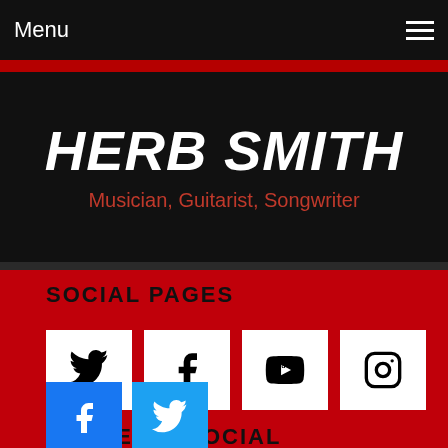Menu
HERB SMITH
Musician, Guitarist, Songwriter
SOCIAL PAGES
[Figure (infographic): Row of four social media icon boxes: Twitter bird, Facebook f, YouTube, Instagram camera]
SHARE ON SOCIAL
[Figure (infographic): Row of two colored share buttons: Facebook (blue) and Twitter (light blue)]